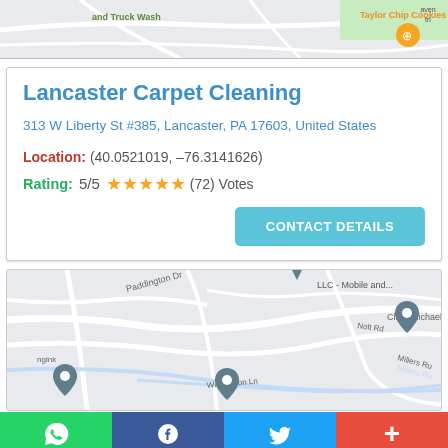[Figure (map): Partial Google Maps view showing roads and location markers including 'and Truck Wash', 'Taylor Chip Cookies' labels]
Lancaster Carpet Cleaning
313 W Liberty St #385, Lancaster, PA 17603, United States
Location: (40.0521019, -76.3141626)
Rating: 5/5 ★★★★★ (72) Votes
[Figure (map): Google Maps view showing neighborhood streets including Paddington Dr, Nolt Rd, Wimbledon Ln, Millers Ru, Clare Michael S, with location pin markers]